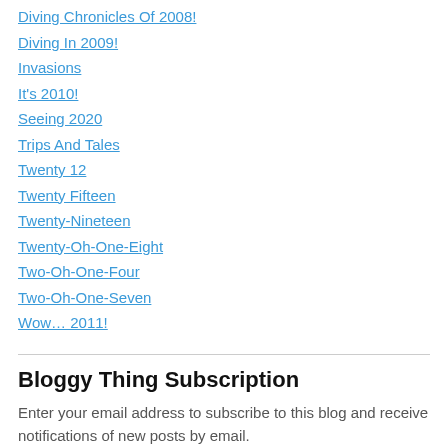Diving Chronicles Of 2008!
Diving In 2009!
Invasions
It's 2010!
Seeing 2020
Trips And Tales
Twenty 12
Twenty Fifteen
Twenty-Nineteen
Twenty-Oh-One-Eight
Two-Oh-One-Four
Two-Oh-One-Seven
Wow… 2011!
Bloggy Thing Subscription
Enter your email address to subscribe to this blog and receive notifications of new posts by email.
Enter your email address